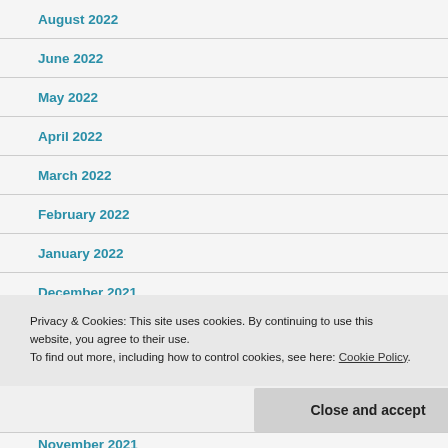August 2022
June 2022
May 2022
April 2022
March 2022
February 2022
January 2022
December 2021
Privacy & Cookies: This site uses cookies. By continuing to use this website, you agree to their use. To find out more, including how to control cookies, see here: Cookie Policy
November 2021